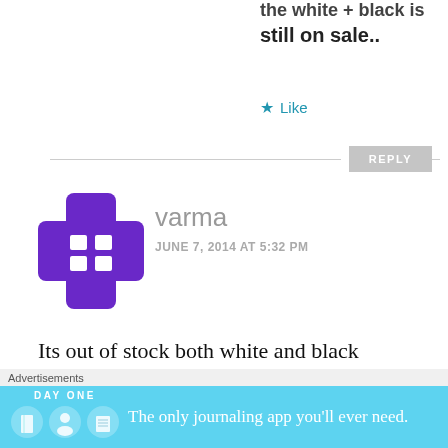still on sale..
Like
REPLY
varma
JUNE 7, 2014 AT 5:32 PM
[Figure (illustration): Purple cross/plus shaped avatar icon with white squares]
Its out of stock both white and black
Like
Advertisements
[Figure (screenshot): DAY ONE app advertisement - The only journaling app you'll ever need.]